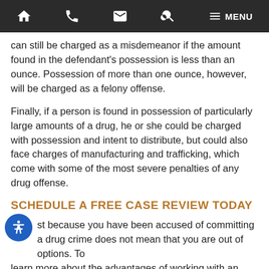[Navigation bar with home, phone, email, search, and menu icons]
can still be charged as a misdemeanor if the amount found in the defendant's possession is less than an ounce. Possession of more than one ounce, however, will be charged as a felony offense.
Finally, if a person is found in possession of particularly large amounts of a drug, he or she could be charged with possession and intent to distribute, but could also face charges of manufacturing and trafficking, which come with some of the most severe penalties of any drug offense.
SCHEDULE A FREE CASE REVIEW TODAY
Just because you have been accused of committing a drug crime does not mean that you are out of options. To learn more about the advantages of working with an experienced Georgia drug lawyer when it comes to